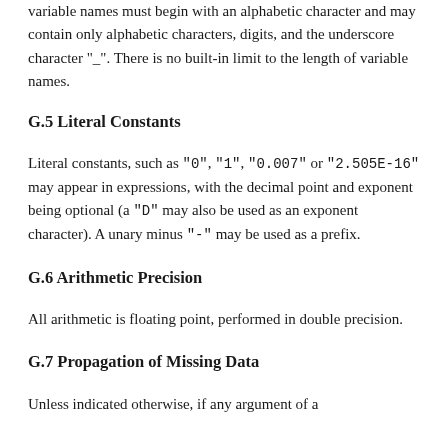Variable names must begin with an alphabetic character and may contain only alphabetic characters, digits, and the underscore character "_". There is no built-in limit to the length of variable names.
G.5 Literal Constants
Literal constants, such as "0", "1", "0.007" or "2.505E-16" may appear in expressions, with the decimal point and exponent being optional (a "D" may also be used as an exponent character). A unary minus "-" may be used as a prefix.
G.6 Arithmetic Precision
All arithmetic is floating point, performed in double precision.
G.7 Propagation of Missing Data
Unless indicated otherwise, if any argument of a